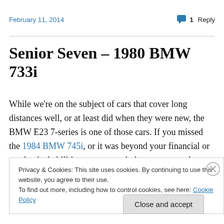February 11, 2014    1 Reply
Senior Seven – 1980 BMW 733i
While we're on the subject of cars that cover long distances well, or at least did when they were new, the BMW E23 7-series is one of those cars. If you missed the 1984 BMW 745i, or it was beyond your financial or mechanical abilities, rest assured, there are even cheaper
Privacy & Cookies: This site uses cookies. By continuing to use this website, you agree to their use.
To find out more, including how to control cookies, see here: Cookie Policy
Close and accept